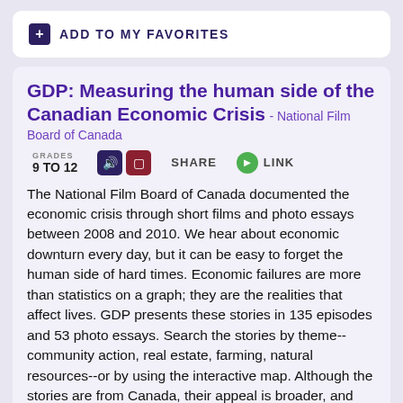ADD TO MY FAVORITES
GDP: Measuring the human side of the Canadian Economic Crisis - National Film Board of Canada
GRADES 9 TO 12
SHARE
LINK
The National Film Board of Canada documented the economic crisis through short films and photo essays between 2008 and 2010. We hear about economic downturn every day, but it can be easy to forget the human side of hard times. Economic failures are more than statistics on a graph; they are the realities that affect lives. GDP presents these stories in 135 episodes and 53 photo essays. Search the stories by theme--community action, real estate, farming, natural resources--or by using the interactive map. Although the stories are from Canada, their appeal is broader, and they parallel what occurred in many countries.
tag(s): canada (24), media literacy (89), photography (129)
IN THE CLASSROOM
This site can put a human face on the numbers for students studying